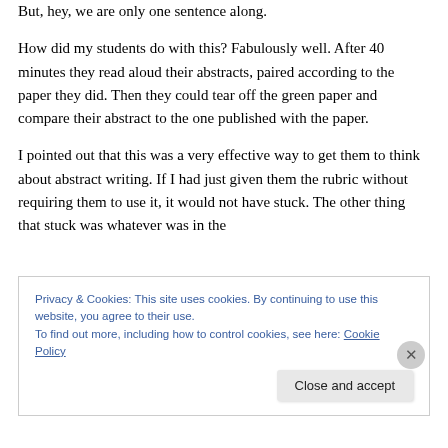But, hey, we are only one sentence along.
How did my students do with this? Fabulously well. After 40 minutes they read aloud their abstracts, paired according to the paper they did. Then they could tear off the green paper and compare their abstract to the one published with the paper.
I pointed out that this was a very effective way to get them to think about abstract writing. If I had just given them the rubric without requiring them to use it, it would not have stuck. The other thing that stuck was whatever was in the
Privacy & Cookies: This site uses cookies. By continuing to use this website, you agree to their use.
To find out more, including how to control cookies, see here: Cookie Policy